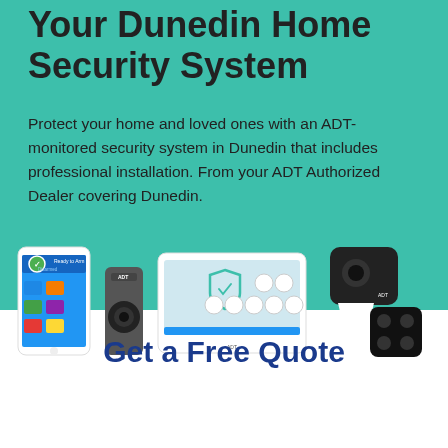Your Dunedin Home Security System
Protect your home and loved ones with an ADT-monitored security system in Dunedin that includes professional installation. From your ADT Authorized Dealer covering Dunedin.
[Figure (photo): ADT home security product lineup on teal background: smartphone with ADT app showing Disarmed status, ADT video doorbell camera, ADT touchscreen control panel, ADT indoor security camera on stand, and ADT key fob remote.]
Get a Free Quote